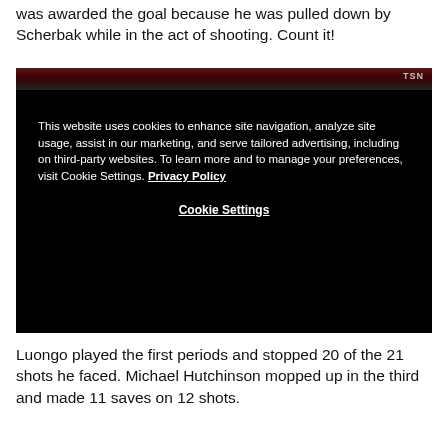was awarded the goal because he was pulled down by Scherbak while in the act of shooting. Count it!
[Figure (screenshot): Hockey broadcast screenshot overlaid with a cookie consent dialog on a black background. The dialog reads: 'This website uses cookies to enhance site navigation, analyze site usage, assist in our marketing, and serve tailored advertising, including on third-party websites. To learn more and to manage your preferences, visit Cookie Settings. Privacy Policy' with a 'Cookie Settings' button below.]
Luongo played the first periods and stopped 20 of the 21 shots he faced. Michael Hutchinson mopped up in the third and made 11 saves on 12 shots.